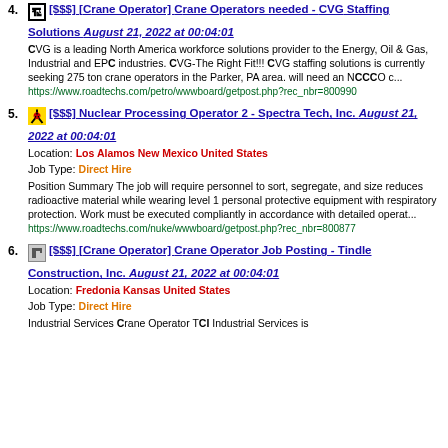4. [$$$] [Crane Operator] Crane Operators needed - CVG Staffing Solutions August 21, 2022 at 00:04:01
CVG is a leading North America workforce solutions provider to the Energy, Oil & Gas, Industrial and EPC industries. CVG-The Right Fit!!! CVG staffing solutions is currently seeking 275 ton crane operators in the Parker, PA area. will need an NCCO c...
https://www.roadtechs.com/petro/wwwboard/getpost.php?rec_nbr=800990
5. [$$$] Nuclear Processing Operator 2 - Spectra Tech, Inc. August 21, 2022 at 00:04:01
Location: Los Alamos New Mexico United States
Job Type: Direct Hire
Position Summary The job will require personnel to sort, segregate, and size reduces radioactive material while wearing level 1 personal protective equipment with respiratory protection. Work must be executed compliantly in accordance with detailed operat...
https://www.roadtechs.com/nuke/wwwboard/getpost.php?rec_nbr=800877
6. [$$$] [Crane Operator] Crane Operator Job Posting - Tindle Construction, Inc. August 21, 2022 at 00:04:01
Location: Fredonia Kansas United States
Job Type: Direct Hire
Industrial Services Crane Operator TCI Industrial Services is